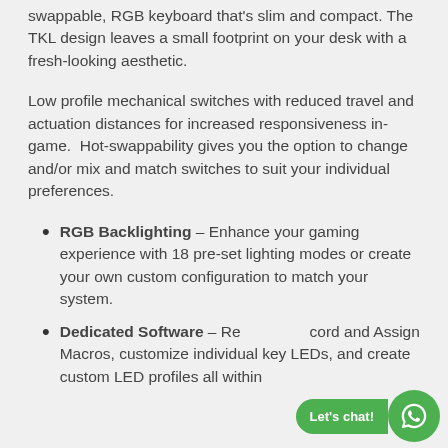swappable, RGB keyboard that's slim and compact. The TKL design leaves a small footprint on your desk with a fresh-looking aesthetic.
Low profile mechanical switches with reduced travel and actuation distances for increased responsiveness in-game.  Hot-swappability gives you the option to change and/or mix and match switches to suit your individual preferences.
RGB Backlighting – Enhance your gaming experience with 18 pre-set lighting modes or create your own custom configuration to match your system.
Dedicated Software – Record and Assign Macros, customize individual key LEDs, and create custom LED profiles all within